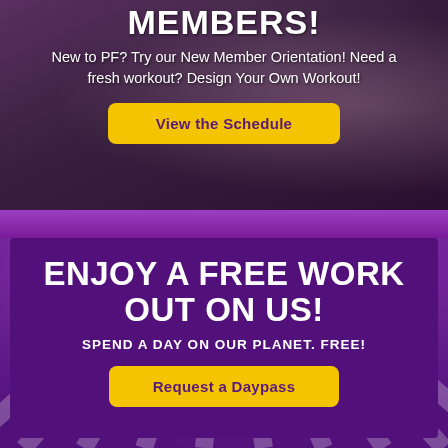MEMBERS!
New to PF? Try our New Member Orientation! Need a fresh workout? Design Your Own Workout!
View the Schedule
ENJOY A FREE WORK OUT ON US!
SPEND A DAY ON OUR PLANET. FREE!
Request a Daypass